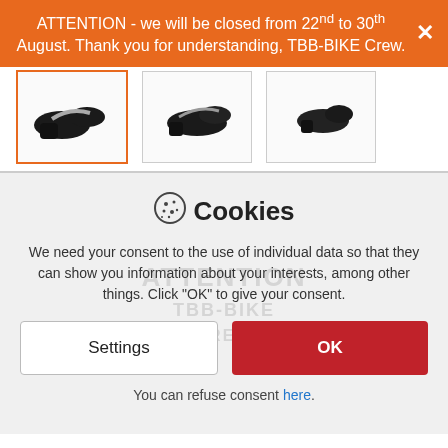ATTENTION - we will be closed from 22nd to 30th August. Thank you for understanding, TBB-BIKE Crew.
[Figure (photo): Three thumbnail images of bike saddles: first selected with orange border, second and third unselected with gray border.]
Cookies
We need your consent to the use of individual data so that they can show you information about your interests, among other things. Click "OK" to give your consent.
Settings  OK
You can refuse consent here.